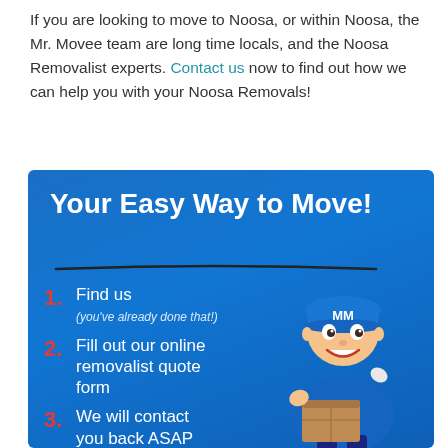If you are looking to move to Noosa, or within Noosa, the Mr. Movee team are long time locals, and the Noosa Removalist experts. Contact us now to find out how we can help you with your Noosa Removals!
[Figure (infographic): Blue infographic titled 'Your Easy Way to Move!' with a cartoon removalist mascot wearing a blue uniform and cap labeled MM, holding a cardboard box. Lists three steps: 1. Find us (you've already done that!) 2. Fill out our online removalist quote form 3. We will contact you back ASAP]